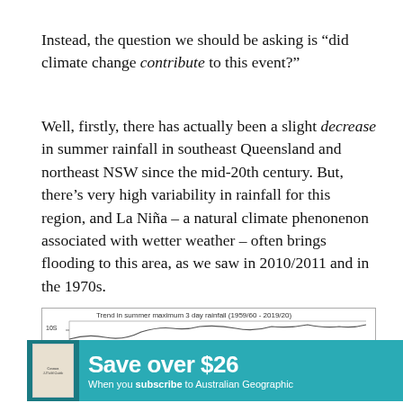Instead, the question we should be asking is “did climate change contribute to this event?”
Well, firstly, there has actually been a slight decrease in summer rainfall in southeast Queensland and northeast NSW since the mid-20th century. But, there’s very high variability in rainfall for this region, and La Niña – a natural climate phenonenon associated with wetter weather – often brings flooding to this area, as we saw in 2010/2011 and in the 1970s.
[Figure (continuous-plot): Partial view of a chart titled 'Trend in summer maximum 3 day rainfall (1959/60 - 2019/20)' with y-axis labels 10S and 20S visible, partially obscured by advertisement banner.]
[Figure (infographic): Advertisement banner in teal/cyan color reading 'Save over $26 When you subscribe to Australian Geographic' with a book cover image on the left.]